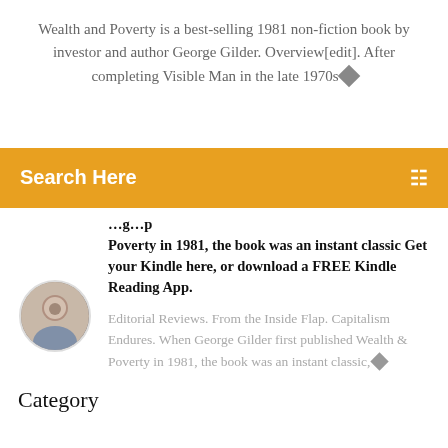Wealth and Poverty is a best-selling 1981 non-fiction book by investor and author George Gilder. Overview[edit]. After completing Visible Man in the late 1970s◆
[Figure (screenshot): Orange search bar with 'Search Here' label and menu icon]
...Poverty in 1981, the book was an instant classic Get your Kindle here, or download a FREE Kindle Reading App.
[Figure (photo): Circular avatar photo of a man]
Editorial Reviews. From the Inside Flap. Capitalism Endures. When George Gilder first published Wealth & Poverty in 1981, the book was an instant classic,◆
Category